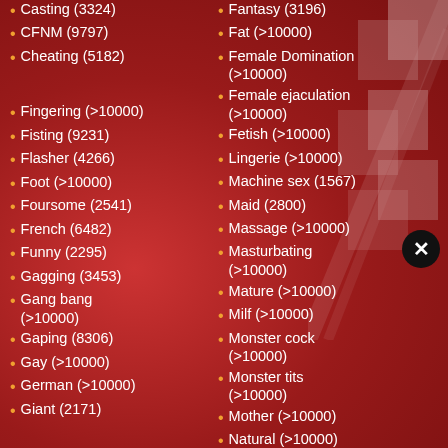Casting (3324)
CFNM (9797)
Cheating (5182)
Fingering (>10000)
Fisting (9231)
Flasher (4266)
Foot (>10000)
Foursome (2541)
French (6482)
Funny (2295)
Gagging (3453)
Gang bang (>10000)
Gaping (8306)
Gay (>10000)
German (>10000)
Giant (2171)
Fantasy (3196)
Fat (>10000)
Female Domination (>10000)
Female ejaculation (>10000)
Fetish (>10000)
Lingerie (>10000)
Machine sex (1567)
Maid (2800)
Massage (>10000)
Masturbating (>10000)
Mature (>10000)
Milf (>10000)
Monster cock (>10000)
Monster tits (>10000)
Mother (>10000)
Natural (>10000)